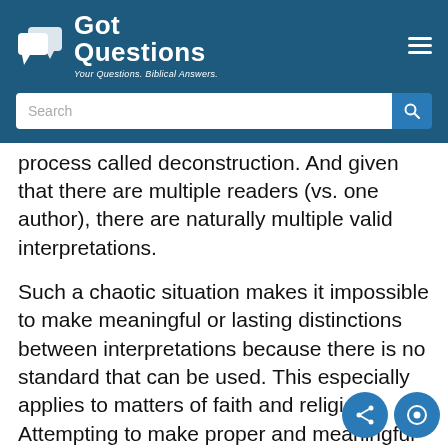Got Questions — Your Questions. Biblical Answers.
process called deconstruction. And given that there are multiple readers (vs. one author), there are naturally multiple valid interpretations.
Such a chaotic situation makes it impossible to make meaningful or lasting distinctions between interpretations because there is no standard that can be used. This especially applies to matters of faith and religion. Attempting to make proper and meaningful distinctions in the area of religion is no more meaningful than arguing that chocolate tastes better than vanilla. Postmodernism says that it is